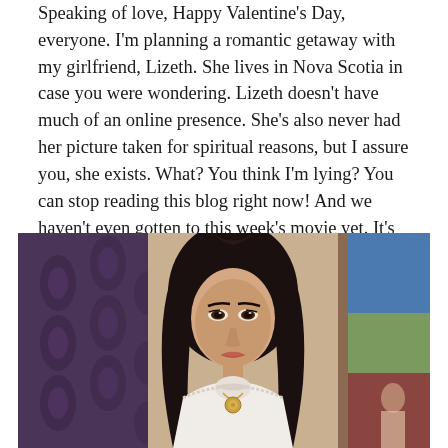Speaking of love, Happy Valentine's Day, everyone. I'm planning a romantic getaway with my girlfriend, Lizeth. She lives in Nova Scotia in case you were wondering. Lizeth doesn't have much of an online presence. She's also never had her picture taken for spiritual reasons, but I assure you, she exists. What? You think I'm lying? You can stop reading this blog right now! And we haven't even gotten to this week's movie yet. It's 2016's The Love Witch from director Anna Biller. This is a good one.
[Figure (photo): A young woman with long dark hair wearing a white turtleneck top with a gold pendant necklace, standing in front of decorative wallpaper and a colorful painting. Still from The Love Witch (2016).]